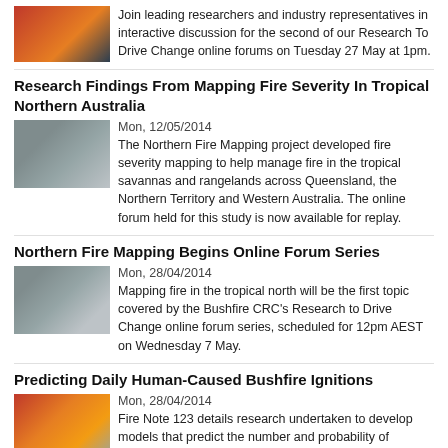Join leading researchers and industry representatives in interactive discussion for the second of our Research To Drive Change online forums on Tuesday 27 May at 1pm.
Research Findings From Mapping Fire Severity In Tropical Northern Australia
Mon, 12/05/2014
The Northern Fire Mapping project developed fire severity mapping to help manage fire in the tropical savannas and rangelands across Queensland, the Northern Territory and Western Australia. The online forum held for this study is now available for replay.
Northern Fire Mapping Begins Online Forum Series
Mon, 28/04/2014
Mapping fire in the tropical north will be the first topic covered by the Bushfire CRC's Research to Drive Change online forum series, scheduled for 12pm AEST on Wednesday 7 May.
Predicting Daily Human-Caused Bushfire Ignitions
Mon, 28/04/2014
Fire Note 123 details research undertaken to develop models that predict the number and probability of human-caused bushfires per day in south west Western Australia from bushfire incident records and weather data.
Producing A Clearer Picture Of Smoke Toxins
Tue, 01/04/2014